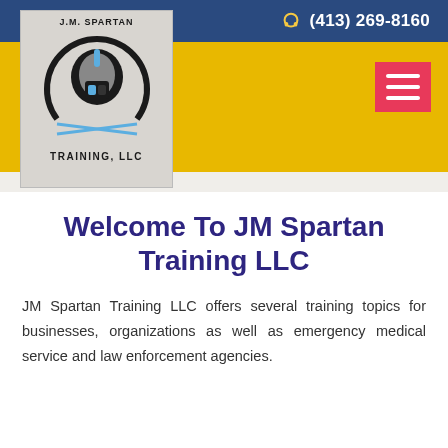(413) 269-8160
[Figure (logo): J.M. Spartan Training LLC logo with Spartan helmet and crossed swords, black and blue design on gray background with text 'J.M. SPARTAN' and 'TRAINING, LLC']
Welcome To JM Spartan Training LLC
JM Spartan Training LLC offers several training topics for businesses, organizations as well as emergency medical service and law enforcement agencies.